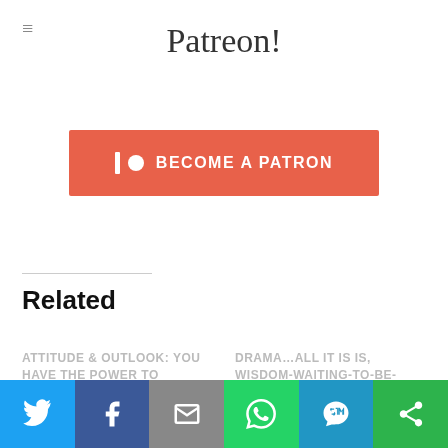Patreon!
[Figure (other): Patreon 'Become a Patron' button in orange-red color with Patreon logo icon]
Related
ATTITUDE & OUTLOOK: YOU HAVE THE POWER TO CHOOSE TO LIVE A HAPPIER LIFE [InspirationOfTheDay]
DRAMA…ALL IT IS IS, WISDOM-WAITING-TO-BE-ACQUIRED IN DISGUISE [InspirationOfTheDay] We all deal with
[Figure (other): Social share bar with Twitter, Facebook, Email, WhatsApp, SMS, and More buttons]